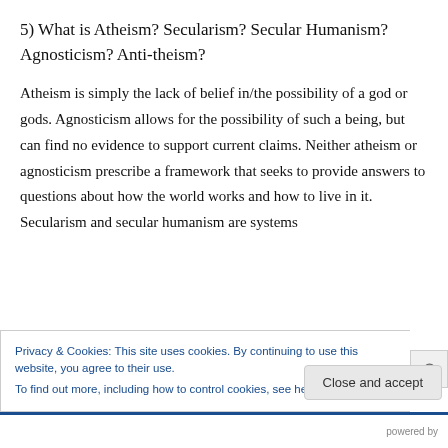5) What is Atheism? Secularism? Secular Humanism? Agnosticism? Anti-theism?
Atheism is simply the lack of belief in/the possibility of a god or gods. Agnosticism allows for the possibility of such a being, but can find no evidence to support current claims. Neither atheism or agnosticism prescribe a framework that seeks to provide answers to questions about how the world works and how to live in it. Secularism and secular humanism are systems
Privacy & Cookies: This site uses cookies. By continuing to use this website, you agree to their use.
To find out more, including how to control cookies, see here: Cookie Policy